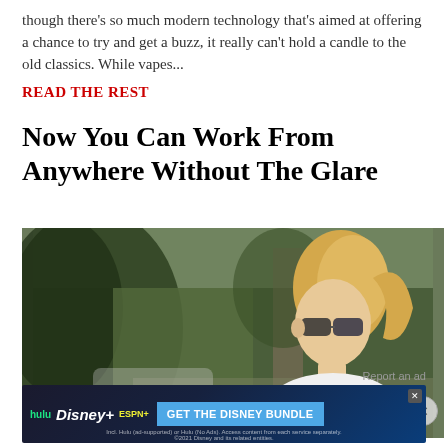though there's so much modern technology that's aimed at offering a chance to try and get a buzz, it really can't hold a candle to the old classics. While vapes...
READ THE REST
Now You Can Work From Anywhere Without The Glare
[Figure (photo): Outdoor photo of a blonde woman with sunglasses looking down, trees and foliage in background, with a close button overlay in bottom right]
Report an ad
[Figure (screenshot): Hulu Disney+ ESPN+ Get The Disney Bundle advertisement banner. Fine print: Incl. Hulu (ad-supported) or Hulu (No Ads). Access content from each service separately. ©2021 Disney and its related entities.]